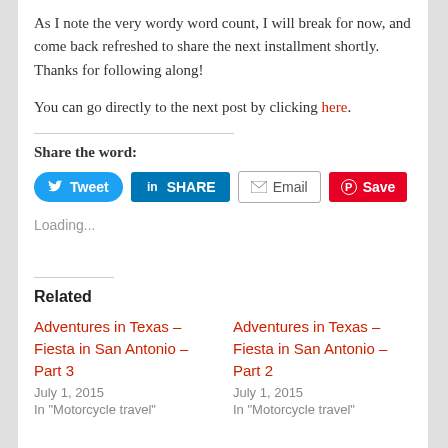As I note the very wordy word count, I will break for now, and come back refreshed to share the next installment shortly. Thanks for following along!
You can go directly to the next post by clicking here.
Share the word:
[Figure (infographic): Social sharing buttons: Tweet (Twitter, blue rounded), SHARE (LinkedIn, blue square), Email (white with border), Save (Pinterest, red)]
Loading...
Related
Adventures in Texas – Fiesta in San Antonio – Part 3
July 1, 2015
In "Motorcycle travel"
Adventures in Texas – Fiesta in San Antonio – Part 2
July 1, 2015
In "Motorcycle travel"